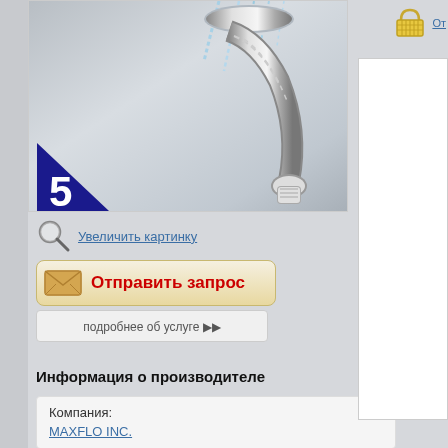[Figure (photo): Close-up photo of a chrome bathroom/kitchen faucet with water stream, number 5 badge in bottom-left corner]
Увеличить картинку
Отправить запрос
подробнее об услуге ▶▶
Информация о производителе
| Компания: |  |
| MAXFLO INC. |  |